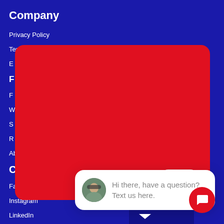Company
Privacy Policy
Terms and Conditions
E
F
F
W
S
R
About
Community
Facebook
Instagram
LinkedIn
[Figure (screenshot): Red popup card overlay with a close button in the bottom-right corner, covering the navigation items]
[Figure (screenshot): Chat bubble popup with avatar and text: Hi there, have a question? Text us here.]
[Figure (other): Red circular chat button with speech bubble icon in bottom-right corner]